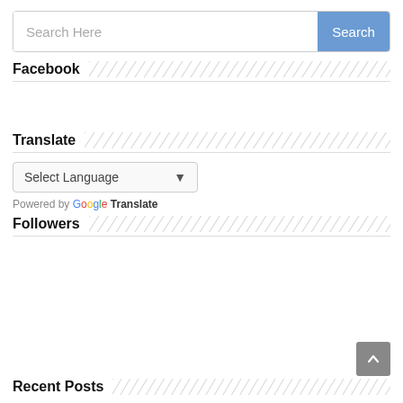[Figure (screenshot): Search bar with text input 'Search Here' and a blue 'Search' button]
Facebook
Translate
[Figure (screenshot): Language selection dropdown showing 'Select Language' with down arrow, and 'Powered by Google Translate' below]
Followers
Recent Posts